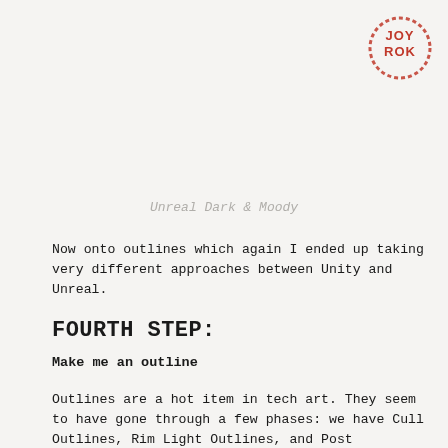[Figure (logo): JOY ROK circular stamp logo in orange/red color, top right corner]
Unreal Dark & Moody
Now onto outlines which again I ended up taking very different approaches between Unity and Unreal.
FOURTH STEP:
Make me an outline
Outlines are a hot item in tech art. They seem to have gone through a few phases: we have Cull Outlines, Rim Light Outlines, and Post